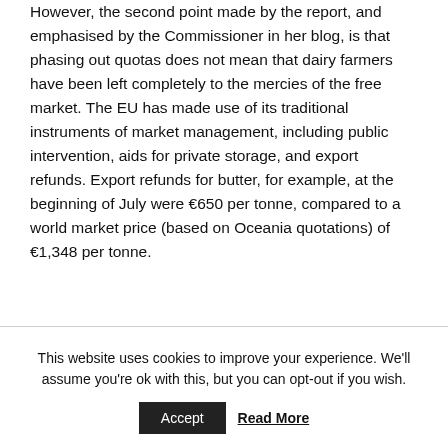However, the second point made by the report, and emphasised by the Commissioner in her blog, is that phasing out quotas does not mean that dairy farmers have been left completely to the mercies of the free market. The EU has made use of its traditional instruments of market management, including public intervention, aids for private storage, and export refunds. Export refunds for butter, for example, at the beginning of July were €650 per tonne, compared to a world market price (based on Oceania quotations) of €1,348 per tonne.
This website uses cookies to improve your experience. We'll assume you're ok with this, but you can opt-out if you wish.